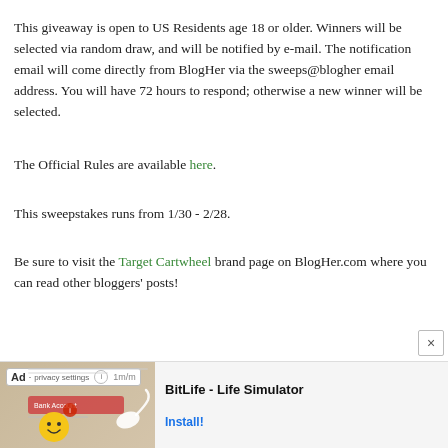This giveaway is open to US Residents age 18 or older. Winners will be selected via random draw, and will be notified by e-mail. The notification email will come directly from BlogHer via the sweeps@blogher email address. You will have 72 hours to respond; otherwise a new winner will be selected.
The Official Rules are available here.
This sweepstakes runs from 1/30 - 2/28.
Be sure to visit the Target Cartwheel brand page on BlogHer.com where you can read other bloggers' posts!
[Figure (other): BitLife - Life Simulator advertisement banner at the bottom of the page]